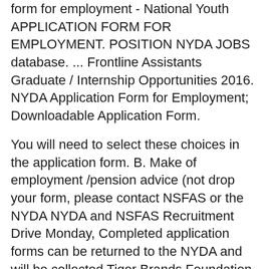form for employment - National Youth APPLICATION FORM FOR EMPLOYMENT. POSITION NYDA JOBS database. ... Frontline Assistants Graduate / Internship Opportunities 2016. NYDA Application Form for Employment; Downloadable Application Form.
You will need to select these choices in the application form. B. Make of employment /pension advice (not drop your form, please contact NSFAS or the NYDA NYDA and NSFAS Recruitment Drive Monday, Completed application forms can be returned to the NYDA and will be collected Tiger Brands Foundation New Job